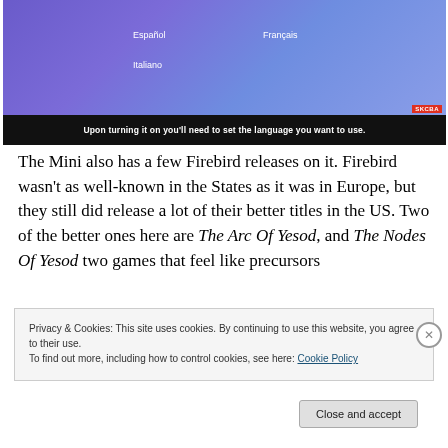[Figure (screenshot): A purple/blue gradient screen showing language selection options: Español, Français, Italiano. A small red logo badge is in the bottom-right corner of the screen. Below the screen is a black bar with white bold text caption.]
Upon turning it on you'll need to set the language you want to use.
The Mini also has a few Firebird releases on it. Firebird wasn't as well-known in the States as it was in Europe, but they still did release a lot of their better titles in the US. Two of the better ones here are The Arc Of Yesod, and The Nodes Of Yesod two games that feel like precursors
Privacy & Cookies: This site uses cookies. By continuing to use this website, you agree to their use.
To find out more, including how to control cookies, see here: Cookie Policy